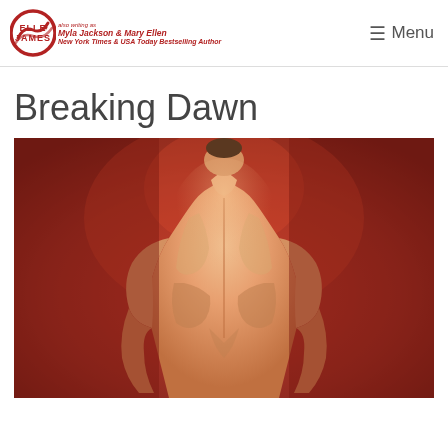Elle James (also writing as Myla Jackson & Mary Ellen) New York Times & USA Today Bestselling Author — Menu
Breaking Dawn
[Figure (illustration): Book cover image showing the muscular back of a shirtless man against a dramatic red background, viewed from behind.]